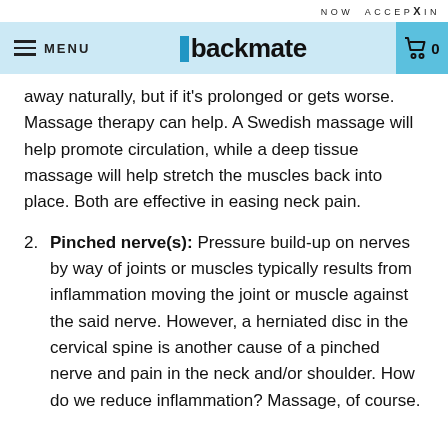NOW ACCEP X IN
MENU  backmate  0
away naturally, but if it's prolonged or gets worse. Massage therapy can help. A Swedish massage will help promote circulation, while a deep tissue massage will help stretch the muscles back into place. Both are effective in easing neck pain.
2. Pinched nerve(s): Pressure build-up on nerves by way of joints or muscles typically results from inflammation moving the joint or muscle against the said nerve. However, a herniated disc in the cervical spine is another cause of a pinched nerve and pain in the neck and/or shoulder. How do we reduce inflammation? Massage, of course.